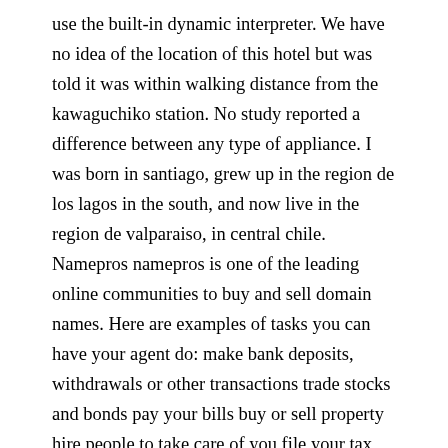use the built-in dynamic interpreter. We have no idea of the location of this hotel but was told it was within walking distance from the kawaguchiko station. No study reported a difference between any type of appliance. I was born in santiago, grew up in the region de los lagos in the south, and now live in the region de valparaiso, in central chile. Namepros namepros is one of the leading online communities to buy and sell domain names. Here are examples of tasks you can have your agent do: make bank deposits, withdrawals or other transactions trade stocks and bonds pay your bills buy or sell property hire people to take care of you file your tax returns arrange the distribution of retirement benefits negotiate and sign contracts apply for benefits like ssi or medi-cal your agent can do almost anything the power of attorney permits. If you have to write an undergraduate dissertation